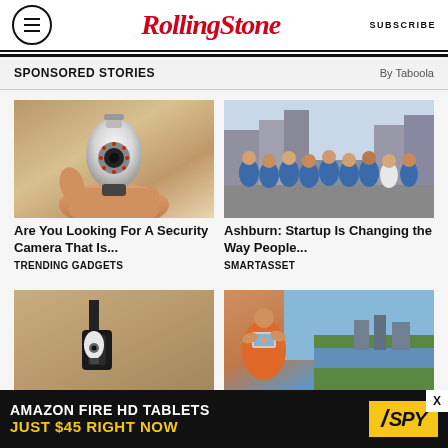RollingStone — SUBSCRIBE
SPONSORED STORIES — By Taboola
[Figure (photo): Hand holding a bulb-shaped security camera]
Are You Looking For A Security Camera That Is...
TRENDING GADGETS
[Figure (photo): Group of people in matching blue t-shirts posing on a city street]
Ashburn: Startup Is Changing the Way People...
SMARTASSET
[Figure (photo): Security camera mounted on an outdoor wall lamp]
[Figure (photo): Person taking a photo with a smartphone near a river]
AMAZON FIRE HD TABLETS JUST $45 RIGHT NOW